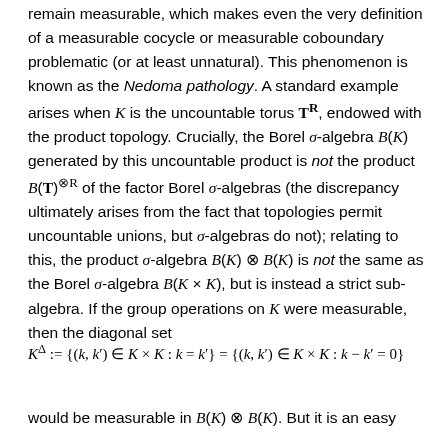remain measurable, which makes even the very definition of a measurable cocycle or measurable coboundary problematic (or at least unnatural). This phenomenon is known as the Nedoma pathology. A standard example arises when K is the uncountable torus T^R, endowed with the product topology. Crucially, the Borel σ-algebra B(K) generated by this uncountable product is not the product B(T)^⊗R of the factor Borel σ-algebras (the discrepancy ultimately arises from the fact that topologies permit uncountable unions, but σ-algebras do not); relating to this, the product σ-algebra B(K) ⊗ B(K) is not the same as the Borel σ-algebra B(K × K), but is instead a strict sub-algebra. If the group operations on K were measurable, then the diagonal set
would be measurable in B(K) ⊗ B(K). But it is an easy